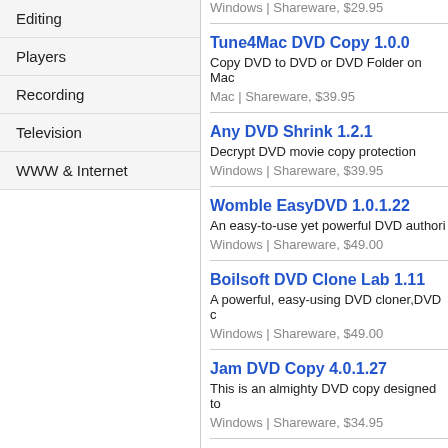Editing
Players
Recording
Television
WWW & Internet
Windows | Shareware, $29.95
Tune4Mac DVD Copy 1.0.0
Copy DVD to DVD or DVD Folder on Mac...
Mac | Shareware, $39.95
Any DVD Shrink 1.2.1
Decrypt DVD movie copy protection
Windows | Shareware, $39.95
Womble EasyDVD 1.0.1.22
An easy-to-use yet powerful DVD authori...
Windows | Shareware, $49.00
Boilsoft DVD Clone Lab 1.11
A powerful, easy-using DVD cloner, DVD c...
Windows | Shareware, $49.00
Jam DVD Copy 4.0.1.27
This is an almighty DVD copy designed to...
Windows | Shareware, $34.95
Yilisoft DVD Ripper Platinum f...